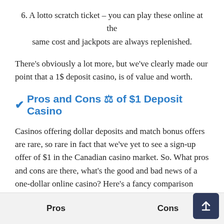6. A lotto scratch ticket – you can play these online at the same cost and jackpots are always replenished.
There's obviously a lot more, but we've clearly made our point that a 1$ deposit casino, is of value and worth.
✔ Pros and Cons ⚖ of $1 Deposit Casino
Casinos offering dollar deposits and match bonus offers are rare, so rare in fact that we've yet to see a sign-up offer of $1 in the Canadian casino market. So. What pros and cons are there, what's the good and bad news of a one-dollar online casino? Here's a fancy comparison table to highlight the answers for you.
| Pros | Cons |
| --- | --- |